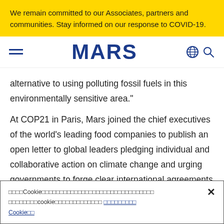We remain committed to our Associates, partners and communities. Stay informed on our response to COVID-19.
[Figure (logo): Mars logo navigation bar with hamburger menu, MARS wordmark in dark blue, globe icon and search icon]
alternative to using polluting fossil fuels in this environmentally sensitive area."
At COP21 in Paris, Mars joined the chief executives of the world's leading food companies to publish an open letter to global leaders pledging individual and collaborative action on climate change and urging governments to forge clear international agreements at the meeting. Also last year, Mars signed on to the
Cookie notice text with link to Cookie policy